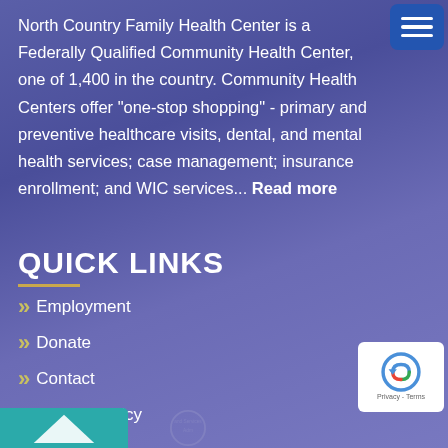North Country Family Health Center is a Federally Qualified Community Health Center, one of 1,400 in the country. Community Health Centers offer "one-stop shopping" - primary and preventive healthcare visits, dental, and mental health services; case management; insurance enrollment; and WIC services... Read more
QUICK LINKS
Employment
Donate
Contact
Privacy Policy